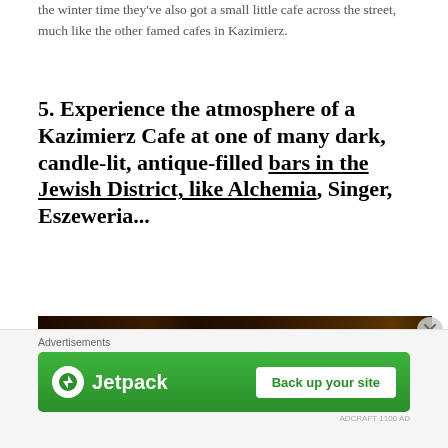the winter time they've also got a small little cafe across the street, much like the other famed cafes in Kazimierz.
5. Experience the atmosphere of a Kazimierz Cafe at one of many dark, candle-lit, antique-filled bars in the Jewish District, like Alchemia, Singer, Eszeweria...
[Figure (photo): Dark interior of a Kazimierz cafe bar, dimly lit with warm candlelight tones, showing a dark atmospheric bar interior]
Advertisements
[Figure (screenshot): Jetpack advertisement banner with green background, Jetpack logo on left and 'Back up your site' button on right]